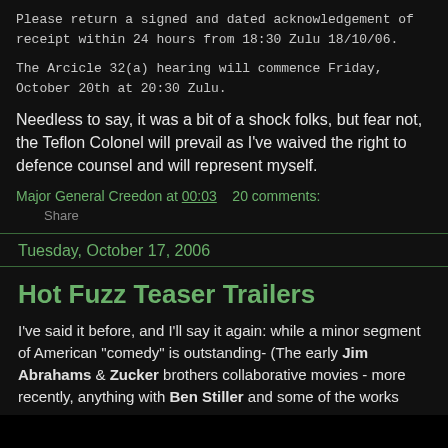Please return a signed and dated acknowledgement of receipt within 24 hours from 18:30 Zulu 18/10/06.
The Arcicle 32(a) hearing will commence Friday, October 20th at 20:30 Zulu.
Needless to say, it was a bit of a shock folks, but fear not, the Teflon Colonel will prevail as I've waived the right to defence counsel and will represent myself.
Major General Creedon at 00:03    20 comments:
Share
Tuesday, October 17, 2006
Hot Fuzz Teaser Trailers
I've said it before, and I'll say it again: while a minor segment of American "comedy" is outstanding- (The early Jim Abrahams & Zucker brothers collaborative movies - more recently, anything with Ben Stiller and some of the works